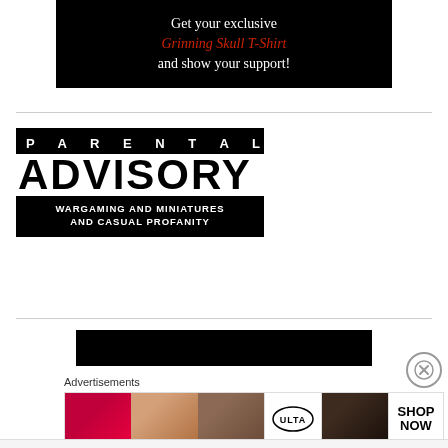[Figure (infographic): Black banner with white and red text reading 'Get your exclusive Grinning Skull T-Shirt and show your support!']
[Figure (infographic): Parental Advisory label style graphic with black background. Top row: 'PARENTAL' in white spaced letters. Middle: 'ADVISORY' in large bold letters on white. Bottom row: 'WARGAMING AND MINIATURES AND CASUAL PROFANITY' in white text on black.]
[Figure (infographic): Black banner at bottom of content area, partially visible.]
Advertisements
[Figure (infographic): Advertisement strip showing ULTA beauty ad with close button (X). Contains images of lips, makeup brush, eye, ULTA logo, dark eye makeup, and SHOP NOW text.]